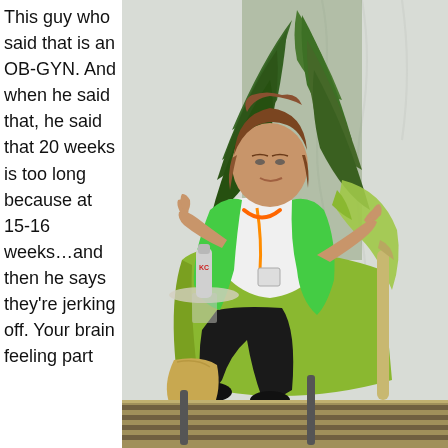[Figure (photo): A woman wearing a green jacket, white top, black pants, and an orange lanyard with a badge, sitting in a green chair. She is gesturing with both hands. Behind her is a large indoor plant and a light-colored wall. On a table beside her is a silver bottle. A striped rug is visible on the floor. A bag is on the floor near her feet.]
This guy who said that is an OB-GYN. And when he said that, he said that 20 weeks is too long because at 15-16 weeks…and then he says they're jerking off. Your brain feeling part